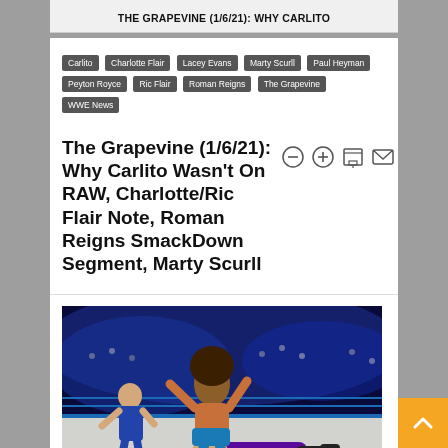THE GRAPEVINE (1/6/21): WHY CARLITO
Carlito
Charlotte Flair
Lacey Evans
Marty Scurll
Paul Heyman
Peyton Royce
Ric Flair
Roman Reigns
The Grapevine
WWE News
The Grapevine (1/6/21): Why Carlito Wasn't On RAW, Charlotte/Ric Flair Note, Roman Reigns SmackDown Segment, Marty Scurll
[Figure (photo): WWE wrestling action photo showing Carlito performing a move in the ring, with a wrestler down on the mat, blue arena lighting in the background]